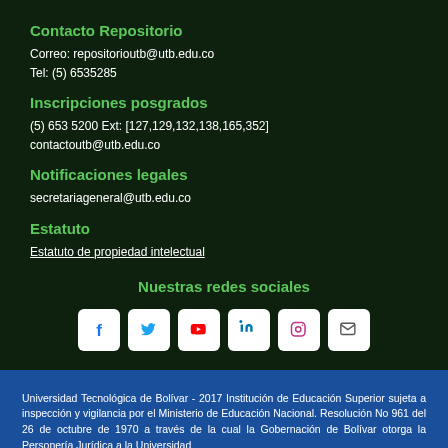Contacto Repositorio
Correo: repositorioutb@utb.edu.co
Tel: (5) 6535285
Inscripciones posgrados
(5) 653 5200 Ext: [127,129,132,138,165,352]
contactoutb@utb.edu.co
Notificaciones legales
secretariageneral@utb.edu.co
Estatuto
Estatuto de propiedad intelectual
Nuestras redes sociales
[Figure (infographic): Social media icons: Facebook, Twitter, YouTube, LinkedIn, Instagram, Email]
Universidad Tecnológica de Bolívar - 2017 Institución de Educación Superior sujeta a inspección y vigilancia por el Ministerio de Educación Nacional. Resolución No 961 del 26 de octubre de 1970 a través de la cual la Gobernación de Bolívar otorga la Personería Jurídica a la Universidad